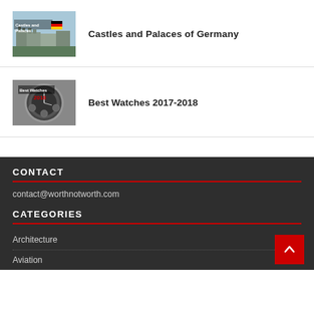[Figure (photo): Thumbnail image of Castles and Palaces of Germany book/listing cover with castle and German flag]
Castles and Palaces of Germany
[Figure (photo): Thumbnail image of Best Watches 2017-2018 book/listing cover with a watch face]
Best Watches 2017-2018
CONTACT
contact@worthnotworth.com
CATEGORIES
Architecture
Aviation